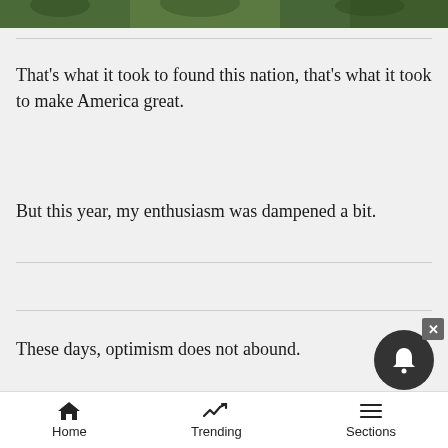[Figure (photo): Partial view of green foliage/trees at the top of the page, cropped strip]
That’s what it took to found this nation, that’s what it took to make America great.
But this year, my enthusiasm was dampened a bit.
These days, optimism does not abound.
Just last week, I was listening to one of the radio show rabble-rousers and a caller declared – almost shrieking – “We’re in trouble! Deep trouble! The
Home   Trending   Sections